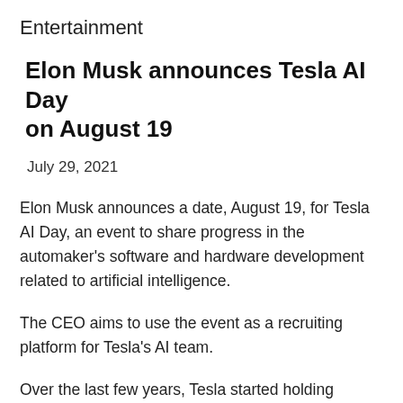Entertainment
Elon Musk announces Tesla AI Day on August 19
July 29, 2021
Elon Musk announces a date, August 19, for Tesla AI Day, an event to share progress in the automaker's software and hardware development related to artificial intelligence.
The CEO aims to use the event as a recruiting platform for Tesla's AI team.
Over the last few years, Tesla started holding events, not really to unveil new products, but to present new technologies that it has been working on in certain fields